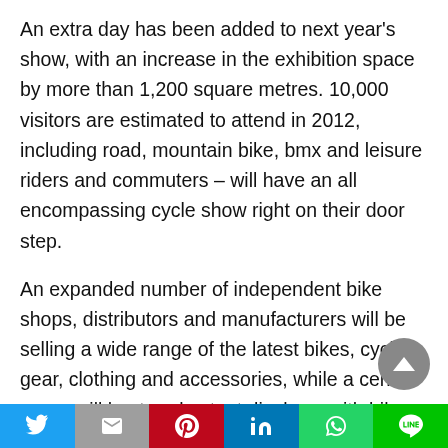An extra day has been added to next year's show, with an increase in the exhibition space by more than 1,200 square metres. 10,000 visitors are estimated to attend in 2012, including road, mountain bike, bmx and leisure riders and commuters – will have an all encompassing cycle show right on their door step.
An expanded number of independent bike shops, distributors and manufacturers will be selling a wide range of the latest bikes, cycle gear, clothing and accessories, while a central arena will host cycle stunt displays, with bike test sessions and Scotland's cycling organisations and cycle centres